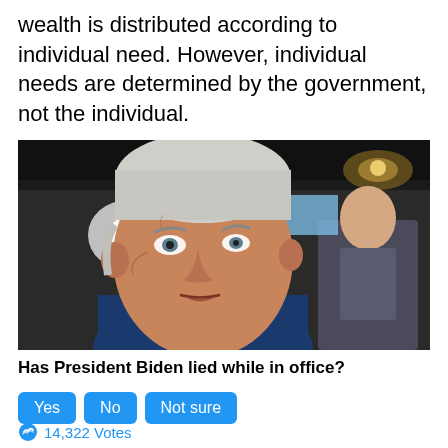wealth is distributed according to individual need. However, individual needs are determined by the government, not the individual.
[Figure (photo): Close-up photo of President Biden speaking at an event, with a younger man visible in the background smiling, and other attendees visible in a dimly lit venue.]
Has President Biden lied while in office?
Yes
No
Not sure
14,322 Votes